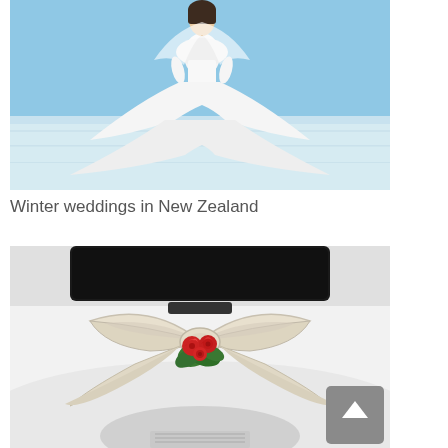[Figure (photo): A bride in a white wedding dress and fur wrap standing on a snowy/icy beach with a clear blue sky background. The dress has a long dramatic train spread across the ice.]
Winter weddings in New Zealand
[Figure (photo): Close-up of the hood/bonnet of a white vintage or classic wedding car decorated with a large cream/ivory satin ribbon bow and a cluster of red roses with green foliage in the center.]